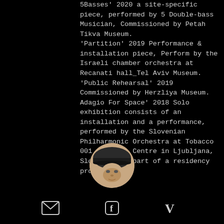5Basses' 2020 a site-specific piece, performed by 5 Double-bass Musician, Commissioned by Petah Tikva Museum.
'Partition' 2019 Performance & installation piece, Perform by the Israeli chamber orchestra at Recanati hall_Tel Aviv Museum.
'Public Rehearsal' 2019 Commissioned by Herzliya Museum.
Adagio For Space' 2018 Solo exhibition consists of an installation and a performance, performed by the Slovenian Philharmonic Orchestra at Tobacco 001 Cultural Centre in Ljubljana, Slovenia, as part of a residency program.
[Figure (photo): Circular portrait photo of a person wearing a black hat]